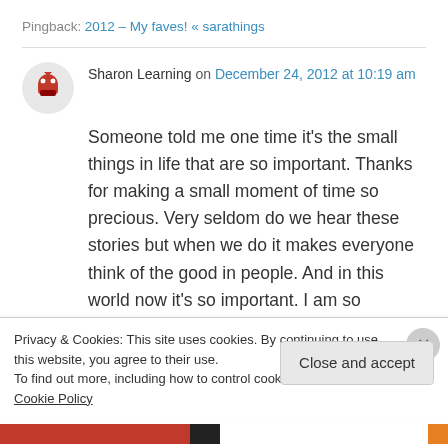Pingback: 2012 – My faves! « sarathings
Sharon Learning on December 24, 2012 at 10:19 am
Someone told me one time it's the small things in life that are so important. Thanks for making a small moment of time so precious. Very seldom do we hear these stories but when we do it makes everyone think of the good in people. And in this world now it's so important. I am so
Privacy & Cookies: This site uses cookies. By continuing to use this website, you agree to their use.
To find out more, including how to control cookies, see here: Cookie Policy
Close and accept